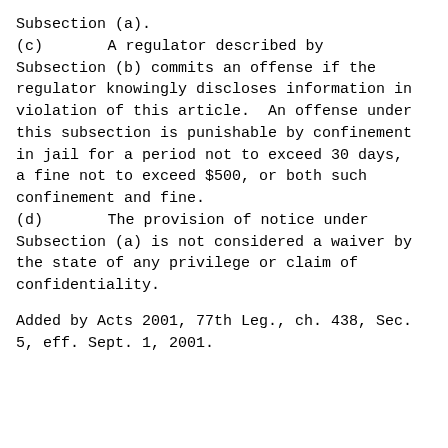Subsection (a).
        (c) A regulator described by Subsection (b) commits an offense if the regulator knowingly discloses information in violation of this article.  An offense under this subsection is punishable by confinement in jail for a period not to exceed 30 days, a fine not to exceed $500, or both such confinement and fine.
        (d) The provision of notice under Subsection (a) is not considered a waiver by the state of any privilege or claim of confidentiality.
Added by Acts 2001, 77th Leg., ch. 438, Sec. 5, eff. Sept. 1, 2001.